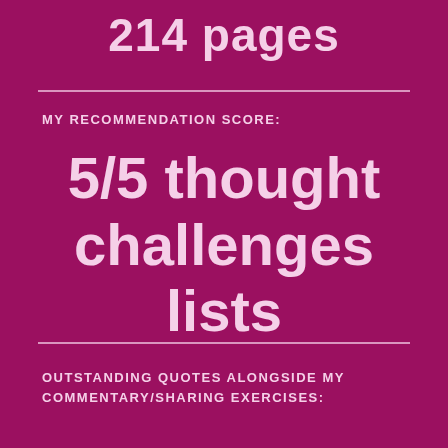214 pages
MY RECOMMENDATION SCORE:
5/5 thought challenges lists
OUTSTANDING QUOTES ALONGSIDE MY COMMENTARY/SHARING EXERCISES: